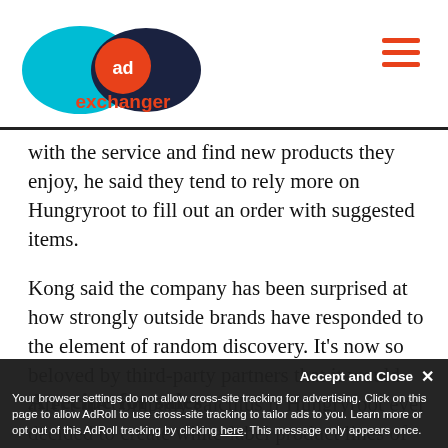AdExchanger
with the service and find new products they enjoy, he said they tend to rely more on Hungryroot to fill out an order with suggested items.
Kong said the company has been surprised at how strongly outside brands have responded to the element of random discovery. It's now so beloved by third-party partners that it would affect the company calculus if Hungryroot ever decided to create white-label product lines of its own, he said.
A recipe for sales
Accept and Close ✕
Your browser settings do not allow cross-site tracking for advertising. Click on this page to allow AdRoll to use cross-site tracking to tailor ads to you. Learn more or opt out of this AdRoll tracking by clicking here. This message only appears once.